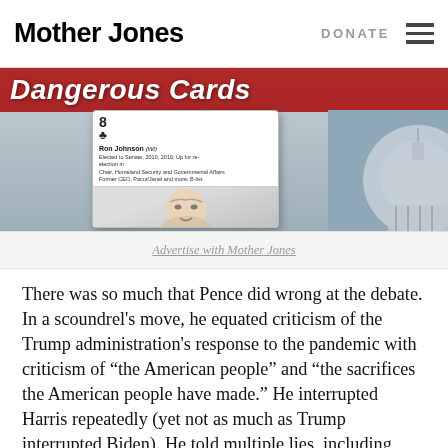Mother Jones | DONATE
[Figure (screenshot): Mother Jones 'Dangerous Cards' banner image showing a playing card with Ron Johnson's illustration and a US Capitol dome in the background]
Advertise with Mother Jones
There was so much that Pence did wrong at the debate. In a scoundrel's move, he equated criticism of the Trump administration's response to the pandemic with criticism of “the American people” and “the sacrifices the American people have made.” He interrupted Harris repeatedly (yet not as much as Trump interrupted Biden). He told multiple lies, including claiming that Trump has “always” been